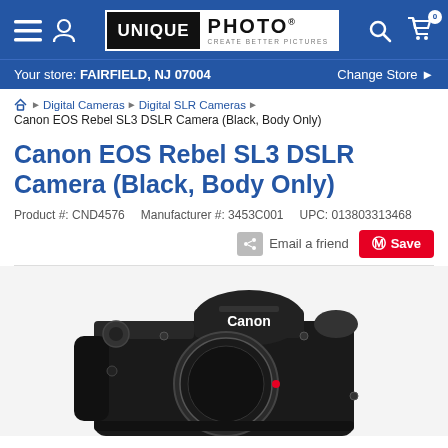Unique Photo — Create Better Pictures | Your store: FAIRFIELD, NJ 07004 | Change Store
Digital Cameras › Digital SLR Cameras › Canon EOS Rebel SL3 DSLR Camera (Black, Body Only)
Canon EOS Rebel SL3 DSLR Camera (Black, Body Only)
Product #: CND4576   Manufacturer #: 3453C001   UPC: 013803313468
Email a friend   Save
[Figure (photo): Canon EOS Rebel SL3 DSLR Camera body in black, viewed from the front, showing the Canon logo, lens mount, and camera body details]